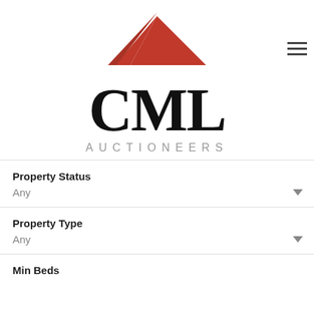[Figure (logo): CML Auctioneers logo: red house/roof SVG icon above large bold serif CML text and spaced-letter AUCTIONEERS subtitle]
Property Status
Any
Property Type
Any
Min Beds